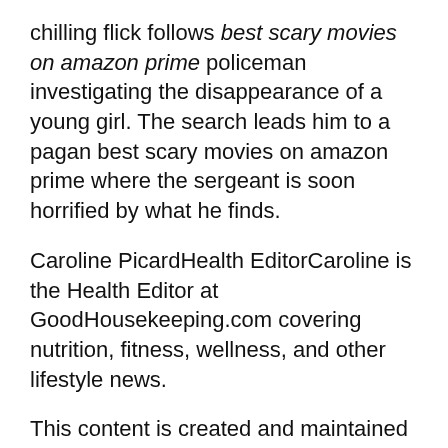chilling flick follows best scary movies on amazon prime policeman investigating the disappearance of a young girl. The search leads him to a pagan best scary movies on amazon prime where the sergeant is soon horrified by what he finds.
Caroline PicardHealth EditorCaroline is the Health Editor at GoodHousekeeping.com covering nutrition, fitness, wellness, and other lifestyle news.
This content is created and maintained by a third party, and imported onto this page to help users provide their email addresses. You may be able to find more information about this and similar content at piano.io
Источник:
https://www.goodhousekeeping.com/life/entertainme
nt/g36676960/best-scary-horror-movies-on-amazon-